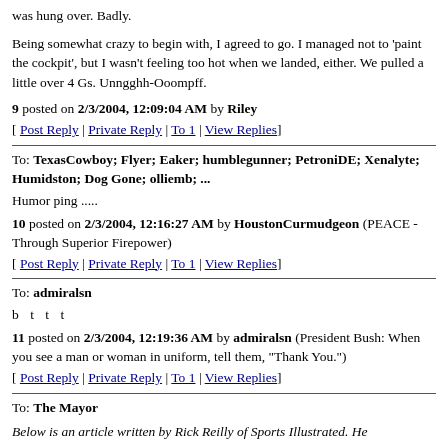was hung over. Badly.
Being somewhat crazy to begin with, I agreed to go. I managed not to 'paint the cockpit', but I wasn't feeling too hot when we landed, either. We pulled a little over 4 Gs. Unngghh-Ooompff.
9 posted on 2/3/2004, 12:09:04 AM by Riley
[ Post Reply | Private Reply | To 1 | View Replies]
To: TexasCowboy; Flyer; Eaker; humblegunner; PetroniDE; Xenalyte; Humidston; Dog Gone; olliemb; ...
Humor ping .....
10 posted on 2/3/2004, 12:16:27 AM by HoustonCurmudgeon (PEACE - Through Superior Firepower)
[ Post Reply | Private Reply | To 1 | View Replies]
To: admiralsn
b t t t
11 posted on 2/3/2004, 12:19:36 AM by admiralsn (President Bush: When you see a man or woman in uniform, tell them, "Thank You.")
[ Post Reply | Private Reply | To 1 | View Replies]
To: The Mayor
Below is an article written by Rick Reilly of Sports Illustrated. He